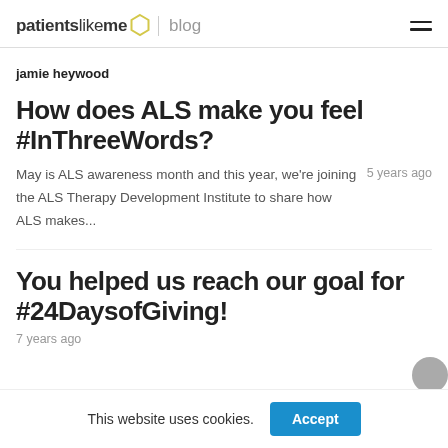patientslikeme blog
jamie heywood
How does ALS make you feel #InThreeWords?
May is ALS awareness month and this year, we're joining the ALS Therapy Development Institute to share how ALS makes...
5 years ago
You helped us reach our goal for #24DaysofGiving!
7 years ago
This website uses cookies. Accept